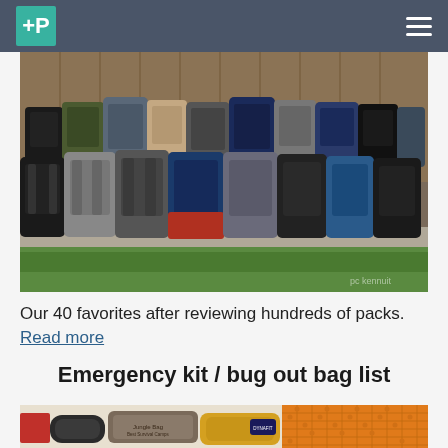+P [logo] [hamburger menu]
[Figure (photo): Large collection of approximately 40 backpacks of various colors and sizes lined up against a wooden fence on gravel, with green grass in the foreground.]
Our 40 favorites after reviewing hundreds of packs. Read more
Emergency kit / bug out bag list
[Figure (photo): Partial view of emergency kit / bug out bag contents laid out, including orange foam sleeping pad, yellow and black stuff sacks, and other gear on a light surface.]